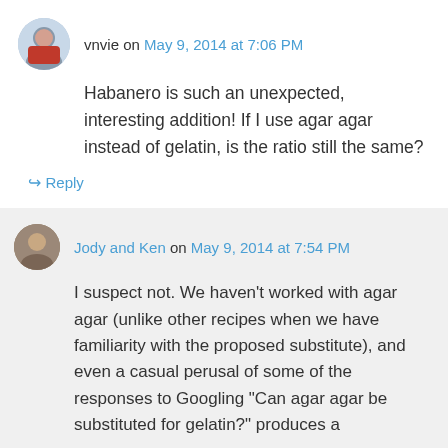vnvie on May 9, 2014 at 7:06 PM
Habanero is such an unexpected, interesting addition! If I use agar agar instead of gelatin, is the ratio still the same?
↪ Reply
Jody and Ken on May 9, 2014 at 7:54 PM
I suspect not. We haven’t worked with agar agar (unlike other recipes when we have familiarity with the proposed substitute), and even a casual perusal of some of the responses to Googling “Can agar agar be substituted for gelatin?” produces a